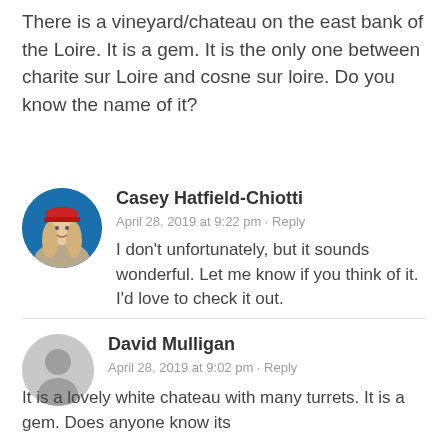There is a vineyard/chateau on the east bank of the Loire. It is a gem. It is the only one between charite sur Loire and cosne sur loire. Do you know the name of it?
[Figure (photo): Circular profile photo of Casey Hatfield-Chiotti, a woman with long blonde hair wearing a red beanie hat, against a blue background.]
Casey Hatfield-Chiotti
April 28, 2019 at 9:22 pm · Reply
I don't unfortunately, but it sounds wonderful. Let me know if you think of it. I'd love to check it out.
[Figure (illustration): Circular grey default avatar icon for David Mulligan.]
David Mulligan
April 28, 2019 at 9:02 pm · Reply
It is a lovely white chateau with many turrets. It is a gem. Does anyone know its